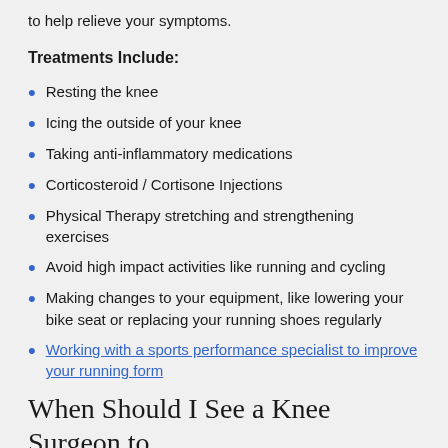to help relieve your symptoms.
Treatments Include:
Resting the knee
Icing the outside of your knee
Taking anti-inflammatory medications
Corticosteroid / Cortisone Injections
Physical Therapy stretching and strengthening exercises
Avoid high impact activities like running and cycling
Making changes to your equipment, like lowering your bike seat or replacing your running shoes regularly
Working with a sports performance specialist to improve your running form
When Should I See a Knee Surgeon to